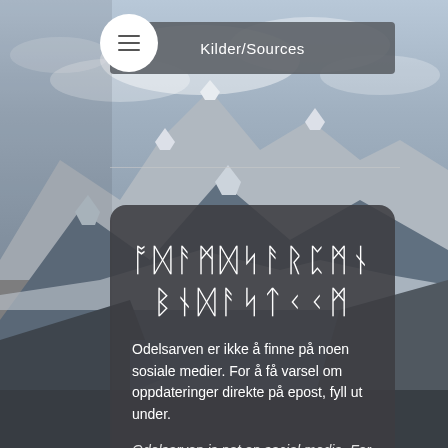Kilder/Sources
[Figure (photo): Snow-capped mountain landscape with glaciers and cloudy sky as background]
ODANSARPMX BNDASTKCM (Runic script title)
Odelsarven er ikke å finne på noen sosiale medier. For å få varsel om oppdateringer direkte på epost, fyll ut under.
Odelsarven is not on social media. For notifications directly on email, please concider subscribing below.